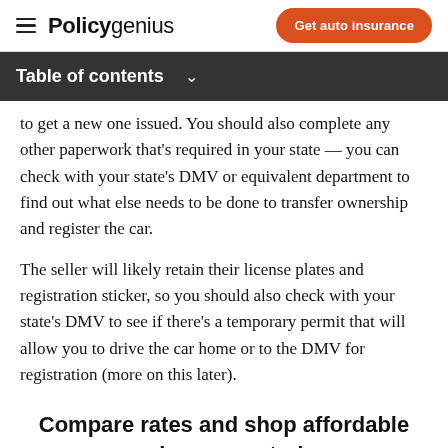Policygenius | Get auto insurance
Table of contents
to get a new one issued. You should also complete any other paperwork that’s required in your state — you can check with your state’s DMV or equivalent department to find out what else needs to be done to transfer ownership and register the car.
The seller will likely retain their license plates and registration sticker, so you should also check with your state’s DMV to see if there’s a temporary permit that will allow you to drive the car home or to the DMV for registration (more on this later).
Compare rates and shop affordable car insurance today